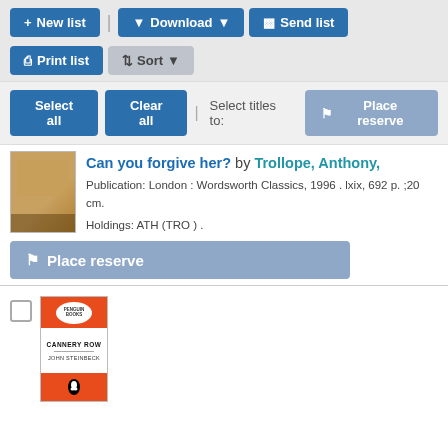[Figure (screenshot): Library catalog interface toolbar with buttons: New list, Download (dropdown), Send list, Print list, Sort (dropdown)]
[Figure (screenshot): Select bar with 'Select all', 'Clear all' buttons, 'Select titles to:' label, and 'Place reserve' button]
[Figure (screenshot): Book cover thumbnail for 'Can you forgive her?' showing a golden/brown cover image]
Can you forgive her? by Trollope, Anthony,
Publication: London : Wordsworth Classics, 1996 . lxix, 692 p. ;20 cm.
Holdings: ATH (TRO ) .
[Figure (screenshot): Place reserve button (large, blue-grey)]
[Figure (screenshot): Penguin Books cover for 'Cannery Row' by John Steinbeck, with classic orange Penguin design]